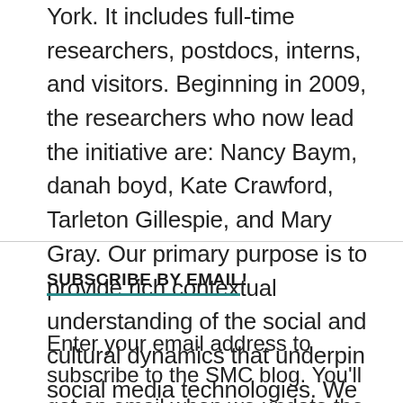York. It includes full-time researchers, postdocs, interns, and visitors. Beginning in 2009, the researchers who now lead the initiative are: Nancy Baym, danah boyd, Kate Crawford, Tarleton Gillespie, and Mary Gray. Our primary purpose is to provide rich contextual understanding of the social and cultural dynamics that underpin social media technologies. We use a variety of methodologies and span multiple disciplines.
SUBSCRIBE BY EMAIL!
Enter your email address to subscribe to the SMC blog. You'll get an email when we update the blog.